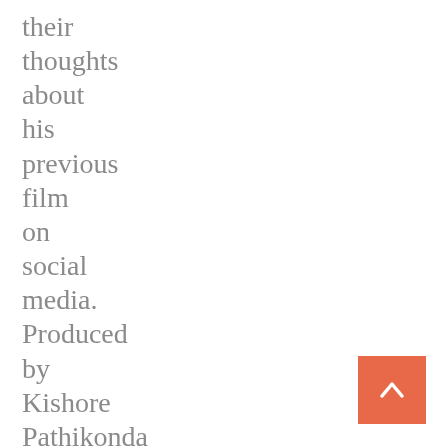their thoughts about his previous film on social media. Produced by Kishore Pathikonda underneath Kishore Productions,
[Figure (other): Orange/salmon colored square button with a white upward-pointing chevron arrow, used as a back-to-top navigation button]